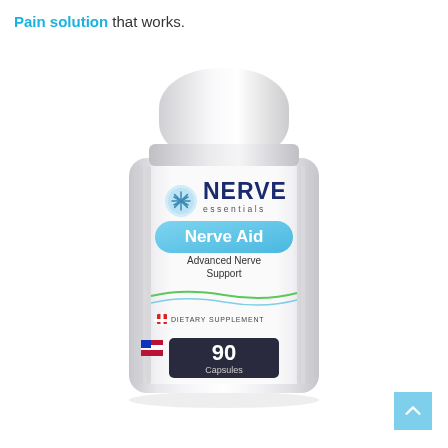Pain solution that works.
[Figure (photo): A white cylindrical supplement bottle labeled 'Nerve Essentials Nerve Aid – Advanced Nerve Support – Dietary Supplement – 90 Capsules'. The bottle has a white cap, a silver and white label with a blue-highlighted product name badge, decorative wave lines in green and blue, a red cross dietary supplement icon, and a '90 Capsules' count at the bottom.]
[Figure (other): A teal/light blue square button with an upward-pointing chevron/arrow, used as a back-to-top navigation button.]